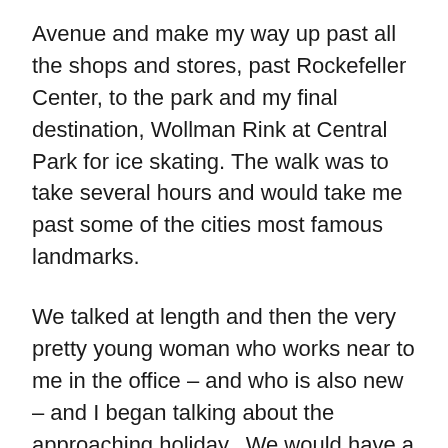Avenue and make my way up past all the shops and stores, past Rockefeller Center, to the park and my final destination, Wollman Rink at Central Park for ice skating. The walk was to take several hours and would take me past some of the cities most famous landmarks.
We talked at length and then the very pretty young woman who works near to me in the office – and who is also new – and I began talking about the approaching holiday. We would have a few days off, we were both new to the area, what would be doing & etc. Her name is R., originally from Connecticut, she was returning there this evening after work to be with family for the holidays. She was taking a 6:30 train.
I invited her to leave work a little early to have a glass of wine before her trip. She agreed and we found ourselves